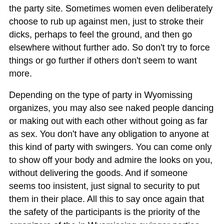the party site. Sometimes women even deliberately choose to rub up against men, just to stroke their dicks, perhaps to feel the ground, and then go elsewhere without further ado. So don't try to force things or go further if others don't seem to want more.
Depending on the type of party in Wyomissing organizes, you may also see naked people dancing or making out with each other without going as far as sex. You don't have any obligation to anyone at this kind of party with swingers. You can come only to show off your body and admire the looks on you, without delivering the goods. And if someone seems too insistent, just signal to security to put them in their place. All this to say once again that the safety of the participants is the priority of the organizers of the in Wyomissing swinger parties. Their reputation is at stake, so on this point, you can have peace of mind. You should also be well informed about the rules to follow, because they apply to everyone, man and woman.
Apart from the security rules, it also happens that in some swingers clubs or swinger-type clubs, participants are subject to a dress code. This is a way to give prestige to their parties and to